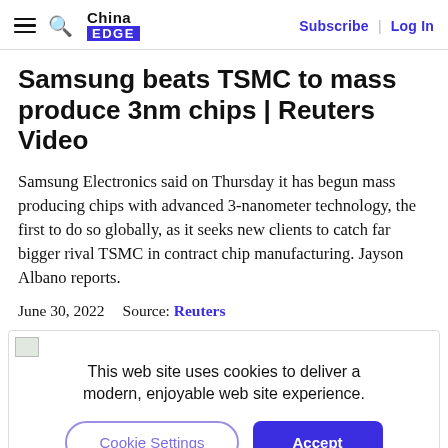China EDGE | Subscribe | Log In
Samsung beats TSMC to mass produce 3nm chips | Reuters Video
Samsung Electronics said on Thursday it has begun mass producing chips with advanced 3-nanometer technology, the first to do so globally, as it seeks new clients to catch far bigger rival TSMC in contract chip manufacturing. Jayson Albano reports.
June 30, 2022    Source: Reuters
This web site uses cookies to deliver a modern, enjoyable web site experience.
Cookie Settings    Accept